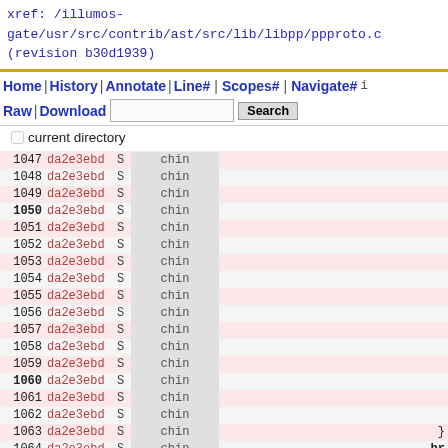xref: /illumos-gate/usr/src/contrib/ast/src/lib/libpp/ppproto.c (revision b30d1939)
[Figure (screenshot): Source code browser navigation bar with Home, History, Annotate, Line#, Scopes#, Navigate#, Raw, Download links, a search input box and Search button, and a current directory checkbox]
1047 da2e3ebd S chin
1048 da2e3ebd S chin
1049 da2e3ebd S chin
1050 da2e3ebd S chin
1051 da2e3ebd S chin
1052 da2e3ebd S chin
1053 da2e3ebd S chin
1054 da2e3ebd S chin
1055 da2e3ebd S chin
1056 da2e3ebd S chin
1057 da2e3ebd S chin
1058 da2e3ebd S chin
1059 da2e3ebd S chin
1060 da2e3ebd S chin
1061 da2e3ebd S chin
1062 da2e3ebd S chin
1063 da2e3ebd S chin
1064 da2e3ebd S chin
1065 da2e3ebd S chin
1066 da2e3ebd S chin
1067 da2e3ebd S chin
1068 da2e3ebd S chin
1069 da2e3ebd S chin
1070 da2e3ebd S chin
1071 da2e3ebd S chin